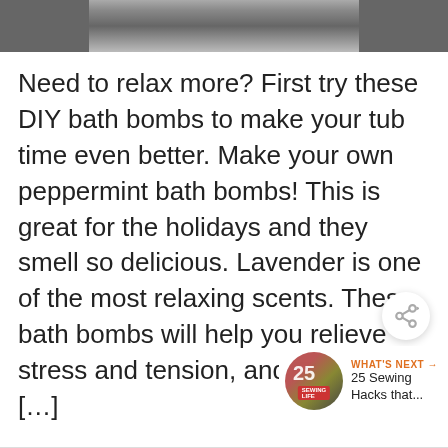[Figure (photo): Partial photo of a bathtub or bath-related item, cropped at top of page]
Need to relax more? First try these DIY bath bombs to make your tub time even better. Make your own peppermint bath bombs! This is great for the holidays and they smell so delicious. Lavender is one of the most relaxing scents. These bath bombs will help you relieve stress and tension, and may also [...]